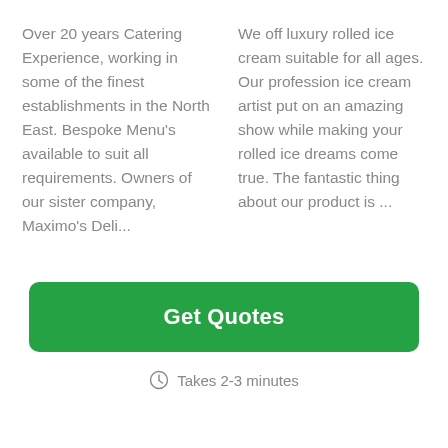Over 20 years Catering Experience, working in some of the finest establishments in the North East. Bespoke Menu's available to suit all requirements. Owners of our sister company, Maximo's Deli...
We off luxury rolled ice cream suitable for all ages. Our profession ice cream artist put on an amazing show while making your rolled ice dreams come true. The fantastic thing about our product is ...
Get Quotes
Takes 2-3 minutes